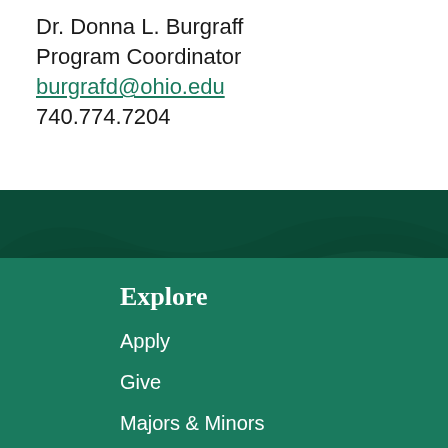Dr. Donna L. Burgraff
Program Coordinator
burgrafd@ohio.edu
740.774.7204
[Figure (illustration): Dark green wave/banner decorative element separating white content area from green footer]
Explore
Apply
Give
Majors & Minors
Online Degrees